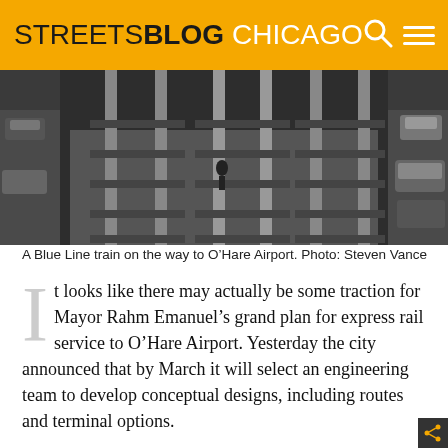STREETSBLOG CHICAGO
[Figure (photo): Aerial view of railroad tracks (Blue Line) with cars on adjacent roads, person visible on the tracks, vehicles on right side]
A Blue Line train on the way to O’Hare Airport. Photo: Steven Vance
It looks like there may actually be some traction for Mayor Rahm Emanuel’s grand plan for express rail service to O’Hare Airport. Yesterday the city announced that by March it will select an engineering team to develop conceptual designs, including routes and terminal options.
The CTA Blue Line is already an efficient way to travel between O’Hare and the Loop, which could easily be improved through a few simple upgrades.